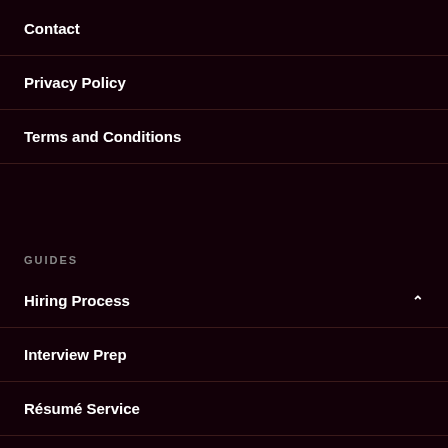Contact
Privacy Policy
Terms and Conditions
GUIDES
Hiring Process
Interview Prep
Résumé Service
Job Hunting